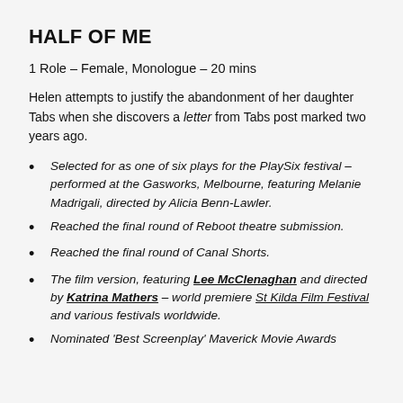HALF OF ME
1 Role – Female, Monologue – 20 mins
Helen attempts to justify the abandonment of her daughter Tabs when she discovers a letter from Tabs post marked two years ago.
Selected for as one of six plays for the PlaySix festival – performed at the Gasworks, Melbourne, featuring Melanie Madrigali, directed by Alicia Benn-Lawler.
Reached the final round of Reboot theatre submission.
Reached the final round of Canal Shorts.
The film version, featuring Lee McClenaghan and directed by Katrina Mathers – world premiere St Kilda Film Festival and various festivals worldwide.
Nominated 'Best Screenplay' Maverick Movie Awards